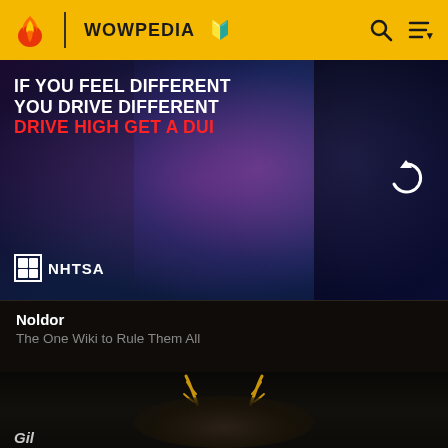WOWPEDIA
[Figure (photo): NHTSA anti-drug driving advertisement banner. Text reads: IF YOU FEEL DIFFERENT YOU DRIVE DIFFERENT DRIVE HIGH GET A DUI. NHTSA logo at bottom left. Dark dramatic photo of a man with hand on head under neon lighting, and a second figure in shadow on the right. A refresh/loading icon appears on the right side.]
Noldor
The One Wiki to Rule Them All
[Figure (photo): Dark cinematic portrait of an elf character wearing a golden antler-style crown, pointed ears visible, looking downward with a serious expression. Bottom of the image is partially cut off.]
Gil